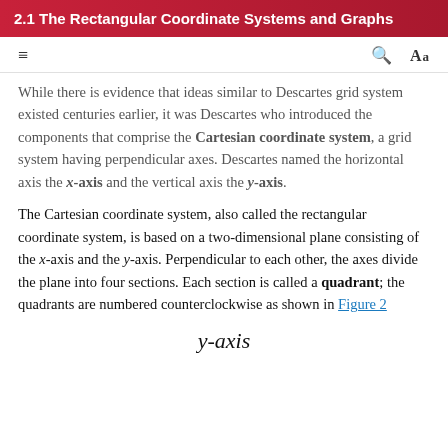2.1 The Rectangular Coordinate Systems and Graphs
While there is evidence that ideas similar to Descartes grid system existed centuries earlier, it was Descartes who introduced the components that comprise the Cartesian coordinate system, a grid system having perpendicular axes. Descartes named the horizontal axis the x-axis and the vertical axis the y-axis.
The Cartesian coordinate system, also called the rectangular coordinate system, is based on a two-dimensional plane consisting of the x-axis and the y-axis. Perpendicular to each other, the axes divide the plane into four sections. Each section is called a quadrant; the quadrants are numbered counterclockwise as shown in Figure 2
y-axis